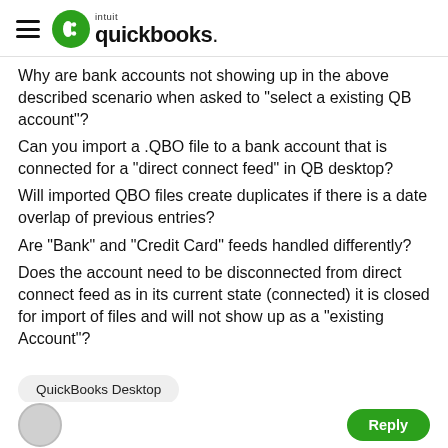QuickBooks
Why are bank accounts not showing up in the above described scenario when asked to "select a existing QB account"?
Can you import a .QBO file to a bank account that is connected for a "direct connect feed" in QB desktop?
Will imported QBO files create duplicates if there is a date overlap of previous entries?
Are "Bank" and "Credit Card" feeds handled differently?
Does the account need to be disconnected from direct connect feed as in its current state (connected) it is closed for import of files and will not show up as a "existing Account"?
QuickBooks Desktop